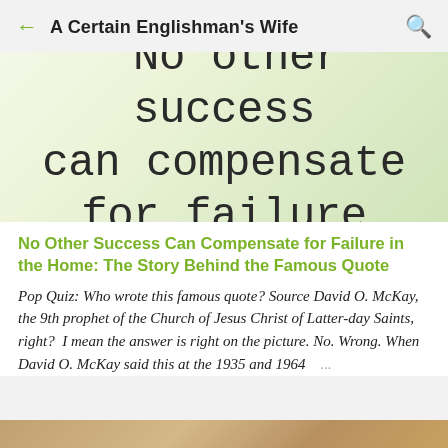A Certain Englishman's Wife
[Figure (photo): Decorative image with large text quote reading: "No other success can compensate for failure" on a blurred light green/white background]
No Other Success Can Compensate for Failure in the Home: The Story Behind the Famous Quote
Pop Quiz: Who wrote this famous quote? Source David O. McKay, the 9th prophet of the Church of Jesus Christ of Latter-day Saints, right?  I mean the answer is right on the picture. No. Wrong. When David O. McKay said this at the 1935 and 1964 ...